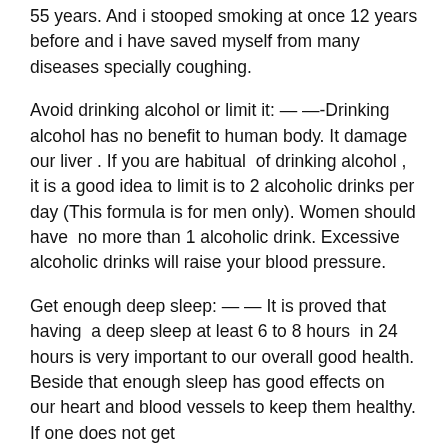55 years. And i stooped smoking at once 12 years before and i have saved myself from many diseases specially coughing.
Avoid drinking alcohol or limit it: — —-Drinking alcohol has no benefit to human body. It damage our liver . If you are habitual of drinking alcohol , it is a good idea to limit is to 2 alcoholic drinks per day (This formula is for men only). Women should have no more than 1 alcoholic drink. Excessive alcoholic drinks will raise your blood pressure.
Get enough deep sleep: — — It is proved that having a deep sleep at least 6 to 8 hours in 24 hours is very important to our overall good health. Beside that enough sleep has good effects on our heart and blood vessels to keep them healthy. If one does not get